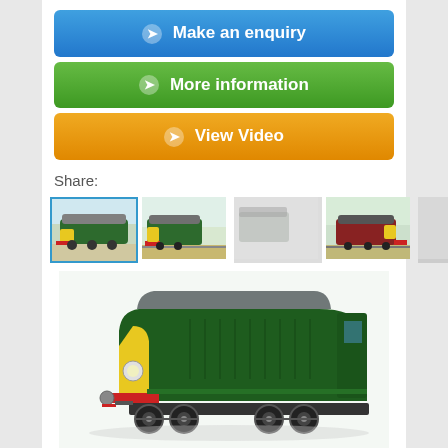[Figure (screenshot): Blue button: Make an enquiry with arrow circle icon]
[Figure (screenshot): Green button: More information with arrow circle icon]
[Figure (screenshot): Orange button: View Video with arrow circle icon]
Share:
[Figure (photo): Thumbnail gallery of a green diesel locomotive. First thumbnail (selected, blue border): green locomotive side view. Second: green locomotive rear view. Third: partially visible blurred image. Fourth: red/maroon locomotive side view. Fifth: partially cut off.]
[Figure (photo): Large main image of a British Railways green diesel locomotive (Class 20 style) viewed from the front-left quarter, showing yellow nose, red buffer beam, and green body.]